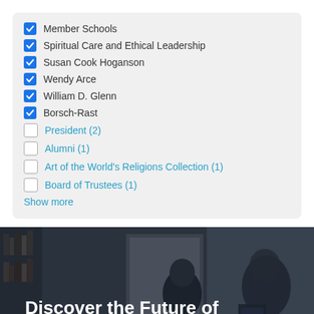✓ Member Schools
✓ Spiritual Care and Ethical Leadership
✓ Susan Cook Hoganson
✓ Wendy Arce
✓ William D. Glenn
✓ Borsch-Rast
☐ President (2)
☐ Alumni (1)
☐ Art of the World's Religions Collection (1)
☐ Board of Trustees (1)
Show more
[Figure (photo): Students studying in a library or classroom setting, dark background with overlay text]
Discover the Future of Religious Scholarship